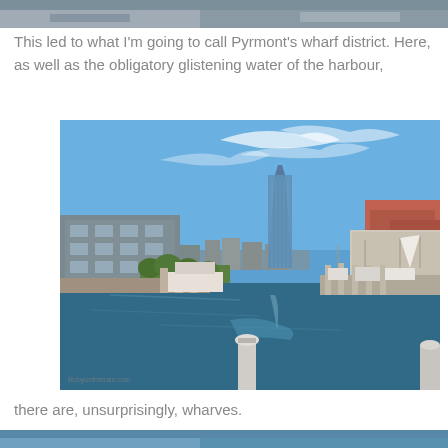[Figure (photo): Partial top edge of a photo, cropped at the top of the page]
This led to what I'm going to call Pyrmont's wharf district. Here, as well as the obligatory glistening water of the harbour,
[Figure (photo): Photo of Pyrmont's wharf district showing a harbour waterway with boats, a marina, a tall modern glass skyscraper in the background, blue sky with wispy clouds, a large building on the left, and a mooring bollard in the foreground. Watermark text visible at bottom left.]
there are, unsurprisingly, wharves.
[Figure (photo): Partial bottom edge of another photo, cropped at the bottom of the page showing blue water]